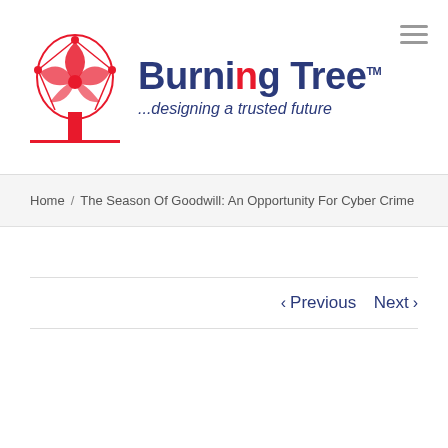[Figure (logo): Burning Tree logo with red tree illustration and blue text reading 'Burning Tree ...designing a trusted future']
Home / The Season Of Goodwill: An Opportunity For Cyber Crime
‹ Previous   Next ›